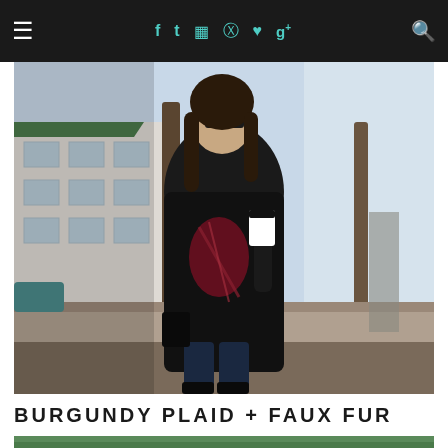≡  f  t  ⊞  ℗  ♥  g+  🔍
[Figure (photo): Woman walking outdoors wearing a black faux fur coat, burgundy plaid scarf, dark jeans, holding a coffee cup. Street scene with trees, buildings in background.]
BURGUNDY PLAID + FAUX FUR
[Figure (photo): Partial view of a second outfit photo, cropped at bottom of page.]